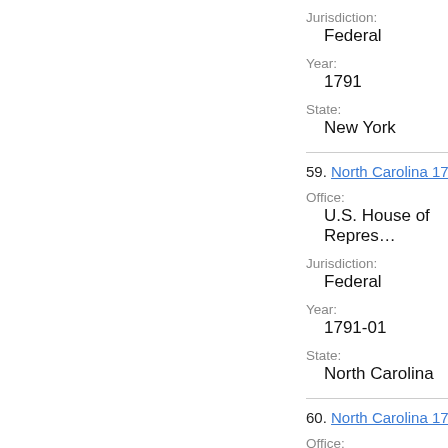Jurisdiction:
Federal
Year:
1791
State:
New York
59. North Carolina 1791 U.S.
Office:
U.S. House of Repres...
Jurisdiction:
Federal
Year:
1791-01
State:
North Carolina
60. North Carolina 1791 U.S.
Office:
U.S. House of Repres...